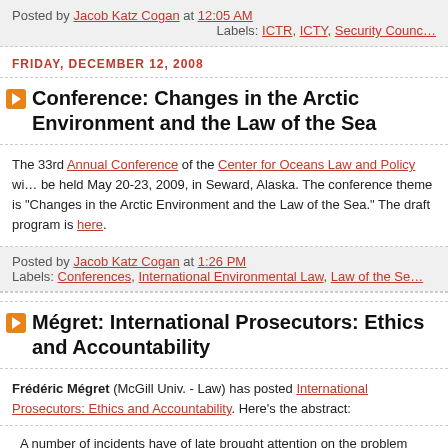Posted by Jacob Katz Cogan at 12:05 AM
Labels: ICTR, ICTY, Security Counc…
FRIDAY, DECEMBER 12, 2008
Conference: Changes in the Arctic Environment and the Law of the Sea
The 33rd Annual Conference of the Center for Oceans Law and Policy will be held May 20-23, 2009, in Seward, Alaska. The conference theme is "Changes in the Arctic Environment and the Law of the Sea." The draft program is here.
Posted by Jacob Katz Cogan at 1:26 PM
Labels: Conferences, International Environmental Law, Law of the Se…
Mégret: International Prosecutors: Ethics and Accountability
Frédéric Mégret (McGill Univ. - Law) has posted International Prosecutors: Ethics and Accountability. Here's the abstract:
A number of incidents have of late brought attention on the problem of the standards to be followed by the prosecutors of international…